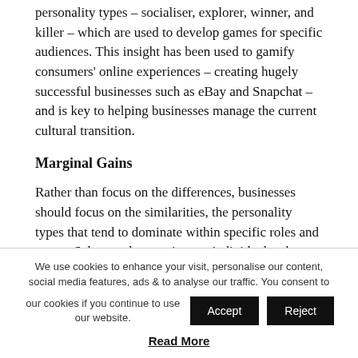personality types – socialiser, explorer, winner, and killer – which are used to develop games for specific audiences. This insight has been used to gamify consumers' online experiences – creating hugely successful businesses such as eBay and Snapchat – and is key to helping businesses manage the current cultural transition.
Marginal Gains
Rather than focus on the differences, businesses should focus on the similarities, the personality types that tend to dominate within specific roles and teams. Salespeople are winners: individuals who thrive on moving up the leaderboard. Those within Customer Service tend to be
We use cookies to enhance your visit, personalise our content, social media features, ads & to analyse our traffic. You consent to our cookies if you continue to use our website.
Read More